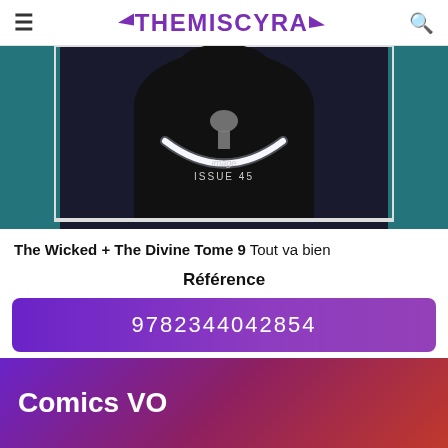THEMISCYRA
[Figure (illustration): Comic book cover image showing a dark figure with a glowing white collar/necklace and an Image comics logo. Text reads 'image ISSUE 45' at the bottom of the cover.]
The Wicked + The Divine Tome 9 Tout va bien
Référence
9782344042854
Comics VO